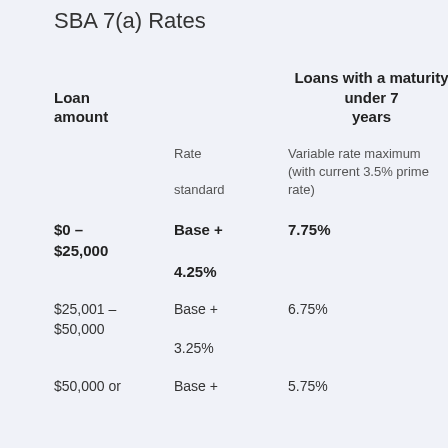SBA 7(a) Rates
| Loan amount | Rate standard | Loans with a maturity under 7 years
Variable rate maximum (with current 3.5% prime rate) |
| --- | --- | --- |
| $0 – $25,000 | Base + 4.25% | 7.75% |
| $25,001 – $50,000 | Base + 3.25% | 6.75% |
| $50,000 or more | Base + 2.25% | 5.75% |